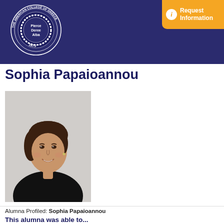[Figure (logo): The American College of Greece seal/logo with text 'Pierce Deree Alba' and year 1875, white on dark navy background]
[Figure (other): Orange 'Request Information' button with info icon in top right corner]
Sophia Papaioannou
[Figure (photo): Professional headshot photo of Sophia Papaioannou, a woman with dark curly hair wearing a black sleeveless top, smiling, against a light background]
Alumna Profiled: Sophia Papaioannou
This alumna was able to...